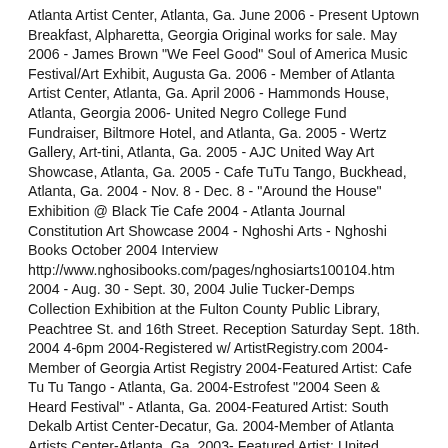Atlanta Artist Center, Atlanta, Ga. June 2006 - Present Uptown Breakfast, Alpharetta, Georgia Original works for sale. May 2006 - James Brown "We Feel Good" Soul of America Music Festival/Art Exhibit, Augusta Ga. 2006 - Member of Atlanta Artist Center, Atlanta, Ga. April 2006 - Hammonds House, Atlanta, Georgia 2006- United Negro College Fund Fundraiser, Biltmore Hotel, and Atlanta, Ga. 2005 - Wertz Gallery, Art-tini, Atlanta, Ga. 2005 - AJC United Way Art Showcase, Atlanta, Ga. 2005 - Cafe TuTu Tango, Buckhead, Atlanta, Ga. 2004 - Nov. 8 - Dec. 8 - "Around the House" Exhibition @ Black Tie Cafe 2004 - Atlanta Journal Constitution Art Showcase 2004 - Nghoshi Arts - Nghoshi Books October 2004 Interview http://www.nghosibooks.com/pages/nghosiarts100104.htm 2004 - Aug. 30 - Sept. 30, 2004 Julie Tucker-Demps Collection Exhibition at the Fulton County Public Library, Peachtree St. and 16th Street. Reception Saturday Sept. 18th. 2004 4-6pm 2004-Registered w/ ArtistRegistry.com 2004-Member of Georgia Artist Registry 2004-Featured Artist: Cafe Tu Tu Tango - Atlanta, Ga. 2004-Estrofest "2004 Seen & Heard Festival" - Atlanta, Ga. 2004-Featured Artist: South Dekalb Artist Center-Decatur, Ga. 2004-Member of Atlanta Artists Center-Atlanta, Ga. 2003- Featured Artist: United